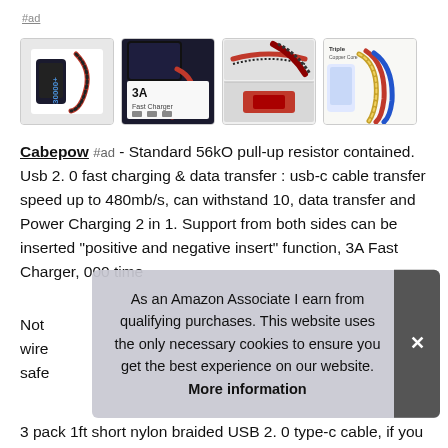#ad
[Figure (photo): Four product images of Cabepow USB-C cables showing braided nylon cable, 3A Fast Charger label, cable close-ups, and multi-colored cable pack]
Cabepow #ad - Standard 56kO pull-up resistor contained. Usb 2. 0 fast charging & data transfer : usb-c cable transfer speed up to 480mb/s, can withstand 10, data transfer and Power Charging 2 in 1. Support from both sides can be inserted "positive and negative insert" function, 3A Fast Charger, 000 time
Not wires safe
As an Amazon Associate I earn from qualifying purchases. This website uses the only necessary cookies to ensure you get the best experience on our website. More information
3 pack 1ft short nylon braided USB 2. 0 type-c cable, if you